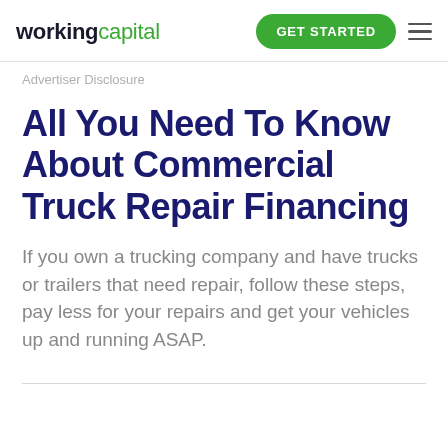workingcapital | GET STARTED
Advertiser Disclosure
All You Need To Know About Commercial Truck Repair Financing
If you own a trucking company and have trucks or trailers that need repair, follow these steps, pay less for your repairs and get your vehicles up and running ASAP.